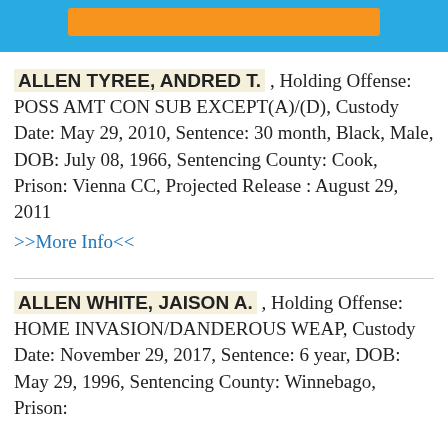[Figure (other): Blue header bar with orange rectangle inside]
ALLEN TYREE, ANDRED T. , Holding Offense: POSS AMT CON SUB EXCEPT(A)/(D), Custody Date: May 29, 2010, Sentence: 30 month, Black, Male, DOB: July 08, 1966, Sentencing County: Cook, Prison: Vienna CC, Projected Release : August 29, 2011 >>More Info<<
ALLEN WHITE, JAISON A. , Holding Offense: HOME INVASION/DANDEROUS WEAP, Custody Date: November 29, 2017, Sentence: 6 year, DOB: May 29, 1996, Sentencing County: Winnebago, Prison: